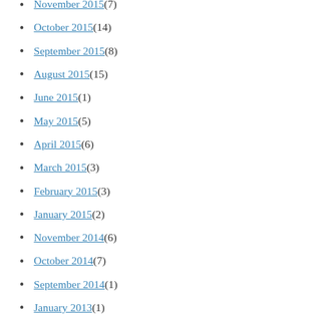November 2015 (7)
October 2015 (14)
September 2015 (8)
August 2015 (15)
June 2015 (1)
May 2015 (5)
April 2015 (6)
March 2015 (3)
February 2015 (3)
January 2015 (2)
November 2014 (6)
October 2014 (7)
September 2014 (1)
January 2013 (1)